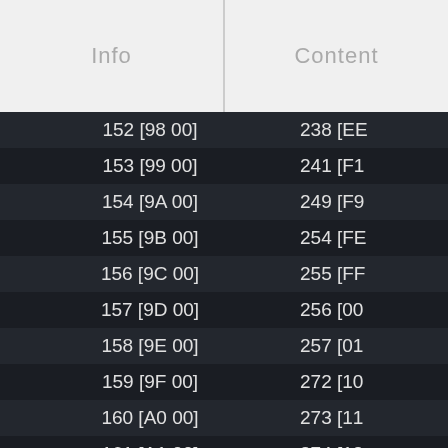Info | Content
| Info | Content |
| --- | --- |
| 152 [98 00] | 238 [EE |
| 153 [99 00] | 241 [F1 |
| 154 [9A 00] | 249 [F9 |
| 155 [9B 00] | 254 [FE |
| 156 [9C 00] | 255 [FF |
| 157 [9D 00] | 256 [00 |
| 158 [9E 00] | 257 [01 |
| 159 [9F 00] | 272 [10 |
| 160 [A0 00] | 273 [11 |
| 161 [A1 00] | 274 [12 |